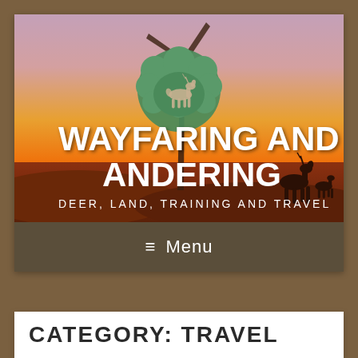[Figure (photo): Hero banner image showing a sunset landscape with a wind turbine and deer silhouettes, featuring a green circular tree/deer logo in the center, with bold white text 'WAYFARING AND WANDERING' and subtitle 'DEER, LAND, TRAINING AND TRAVEL']
WAYFARING AND WANDERING
DEER, LAND, TRAINING AND TRAVEL
≡ Menu
CATEGORY: TRAVEL